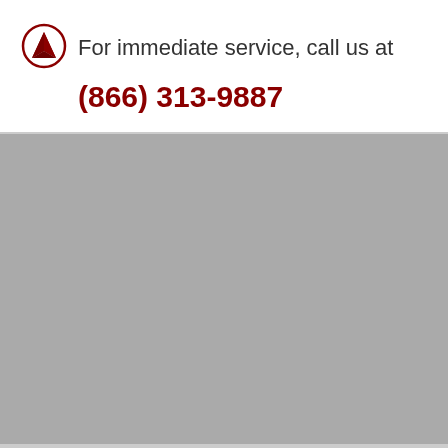[Figure (logo): Circular logo with a dark red arrow/navigation icon inside a circle outline]
For immediate service, call us at
(866) 313-9887
[Figure (photo): Gray placeholder image/background block]